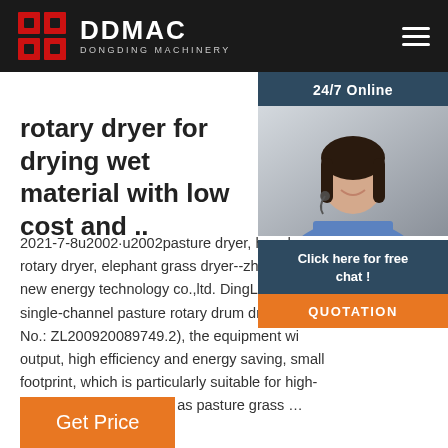DDMAC DONGDING MACHINERY
[Figure (photo): Customer service agent with headset, smiling, with '24/7 Online' label and 'Click here for free chat!' overlay, and an orange QUOTATION button]
rotary dryer for drying wet material with low cost and ..
2021-7-8u2002·u2002pasture dryer, hay dryer, rotary dryer, elephant grass dryer--zhengzhou new energy technology co.,ltd. DingLi three-single-channel pasture rotary drum dryer (P No.: ZL200920089749.2), the equipment wi output, high efficiency and energy saving, small footprint, which is particularly suitable for high-moisture materials such as pasture grass …
Get Price